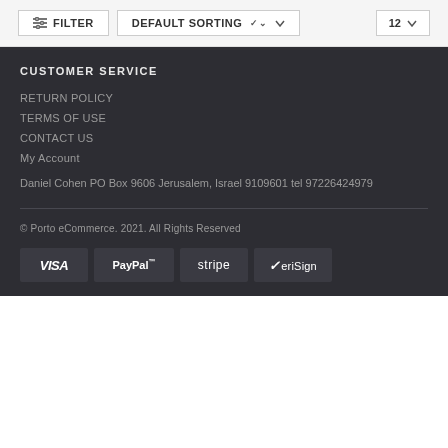FILTER   DEFAULT SORTING   12
CUSTOMER SERVICE
RETURN POLICY
TERMS OF USE
CONTACT US
My Account
Daniel Cohen PO Box 9606 Jerusalem, Israel 9109601 tel 97226424979
© Porto eCommerce. 2021. All Rights Reserved
[Figure (other): Payment logos: VISA, PayPal, stripe, VeriSign]